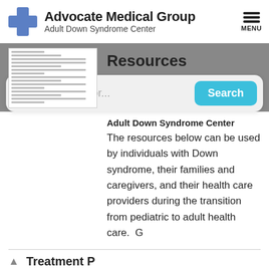[Figure (logo): Advocate Medical Group logo with blue cross and text 'Advocate Medical Group' and 'Adult Down Syndrome Center']
Resources
[Figure (screenshot): Search bar with magnifying glass icon, placeholder text 'I'm looking for...' and blue Search button]
Adult Down Syndrome Center The resources below can be used by individuals with Down syndrome, their families and caregivers, and their health care providers during the transition from pediatric to adult health care.  G